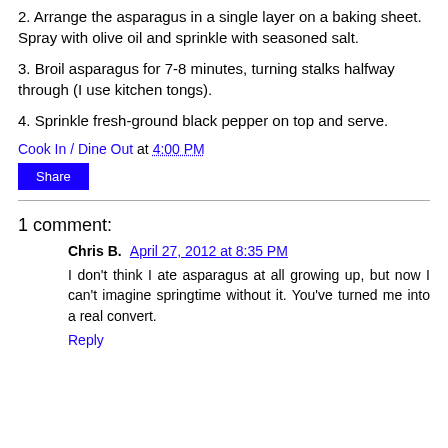2. Arrange the asparagus in a single layer on a baking sheet. Spray with olive oil and sprinkle with seasoned salt.
3. Broil asparagus for 7-8 minutes, turning stalks halfway through (I use kitchen tongs).
4. Sprinkle fresh-ground black pepper on top and serve.
Cook In / Dine Out at 4:00 PM
Share
1 comment:
Chris B. April 27, 2012 at 8:35 PM
I don't think I ate asparagus at all growing up, but now I can't imagine springtime without it. You've turned me into a real convert.
Reply